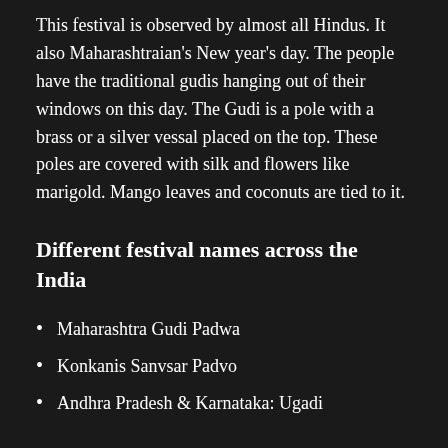This festival is observed by almost all Hindus. It also Maharashtraian's New year's day. The people have the traditional gudis hanging out of their windows on this day. The Gudi is a pole with a brass or a silver vessal placed on the top. These poles are covered with silk and flowers like marigold. Mango leaves and coconuts are tied to it.
Different festival names across the India
Maharashtra Gudi Padwa
Konkanis Sanvsar Padvo
Andhra Pradesh & Karnataka: Ugadi